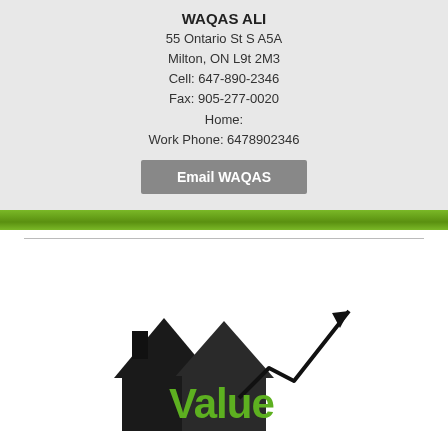WAQAS ALI
55 Ontario St S A5A
Milton, ON L9t 2M3
Cell: 647-890-2346
Fax: 905-277-0020
Home:
Work Phone: 6478902346
Email WAQAS
[Figure (illustration): 3D illustration of a house silhouette in black with a green 'Value' text and an upward trending arrow]
How Much Your Home worth?